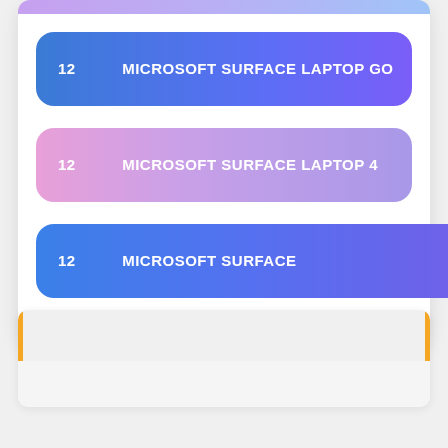12　　　MICROSOFT SURFACE LAPTOP GO
12　　　MICROSOFT SURFACE LAPTOP 4
12　　　MICROSOFT SURFACE